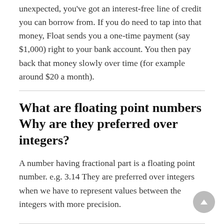unexpected, you've got an interest-free line of credit you can borrow from. If you do need to tap into that money, Float sends you a one-time payment (say $1,000) right to your bank account. You then pay back that money slowly over time (for example around $20 a month).
What are floating point numbers Why are they preferred over integers?
A number having fractional part is a floating point number. e.g. 3.14 They are preferred over integers when we have to represent values between the integers with more precision.